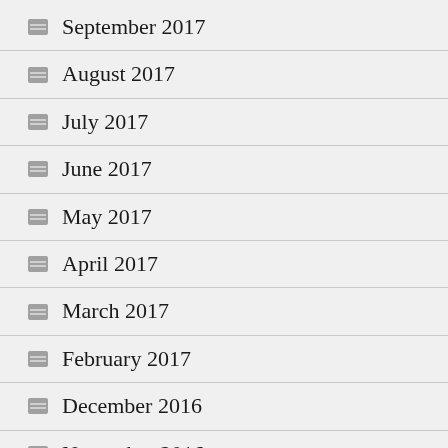September 2017
August 2017
July 2017
June 2017
May 2017
April 2017
March 2017
February 2017
December 2016
November 2016